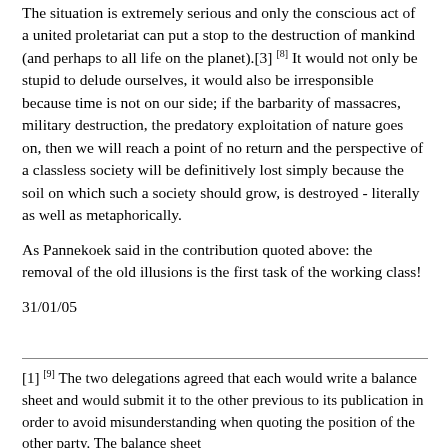The situation is extremely serious and only the conscious act of a united proletariat can put a stop to the destruction of mankind (and perhaps to all life on the planet).[3] [8] It would not only be stupid to delude ourselves, it would also be irresponsible because time is not on our side; if the barbarity of massacres, military destruction, the predatory exploitation of nature goes on, then we will reach a point of no return and the perspective of a classless society will be definitively lost simply because the soil on which such a society should grow, is destroyed - literally as well as metaphorically.
As Pannekoek said in the contribution quoted above: the removal of the old illusions is the first task of the working class!
31/01/05
[1] [9] The two delegations agreed that each would write a balance sheet and would submit it to the other previous to its publication in order to avoid misunderstanding when quoting the position of the other party. The balance sheet...